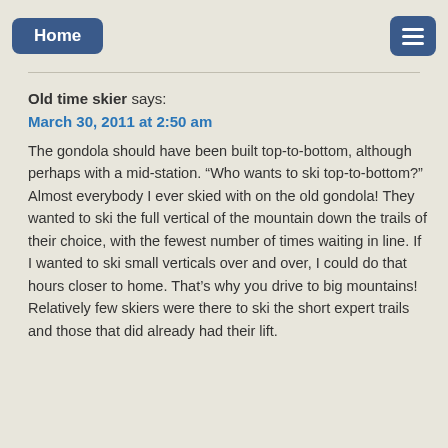Home
Old time skier says:
March 30, 2011 at 2:50 am
The gondola should have been built top-to-bottom, although perhaps with a mid-station. “Who wants to ski top-to-bottom?” Almost everybody I ever skied with on the old gondola! They wanted to ski the full vertical of the mountain down the trails of their choice, with the fewest number of times waiting in line. If I wanted to ski small verticals over and over, I could do that hours closer to home. That’s why you drive to big mountains! Relatively few skiers were there to ski the short expert trails and those that did already had their lift.